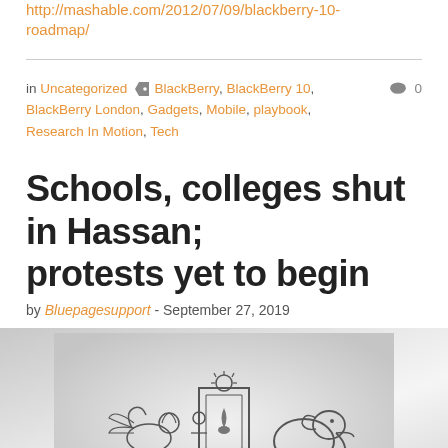http://mashable.com/2012/07/09/blackberry-10-roadmap/
in Uncategorized  BlackBerry, BlackBerry 10, BlackBerry London, Gadgets, Mobile, playbook, Research In Motion, Tech  0
Schools, colleges shut in Hassan; protests yet to begin
by Bluepagesupport - September 27, 2019
[Figure (illustration): Karnataka state emblem/coat of arms showing a central shield with a flame, flanked by a winged lion on the left, a woman figure, and an elephant on the right, on a light grey gradient background]